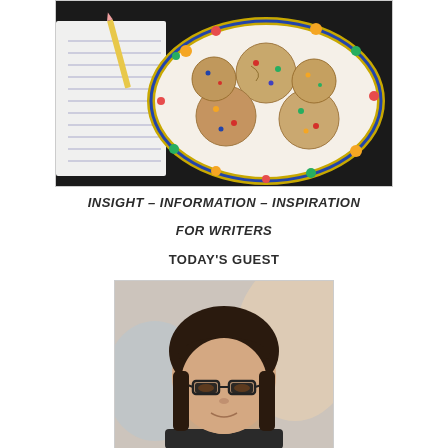[Figure (photo): A plate of M&M cookies on a floral-rimmed plate, placed on a dark table next to a ruled notepad and a pencil]
INSIGHT – INFORMATION – INSPIRATION
FOR WRITERS
TODAY'S GUEST
[Figure (photo): Portrait photo of a woman with long dark hair and bangs, wearing glasses, smiling slightly, with a blurred background]